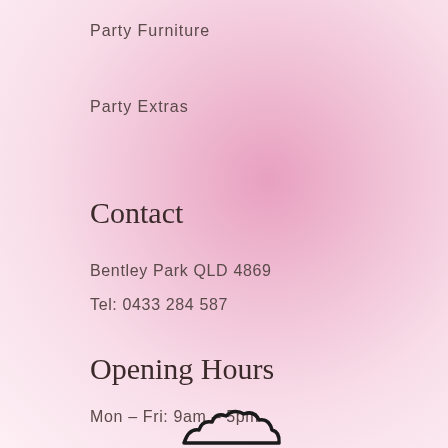Party Furniture
Party Extras
Contact
Bentley Park QLD 4869
Tel: 0433 284 587
Opening Hours
Mon - Fri: 9am - 5pm
Saturday: 9am - 12pm
Sunday: Closed
[Figure (logo): Partial logo at bottom center of page]